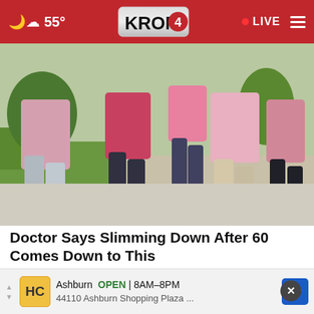KRON 4 — 55° — LIVE
[Figure (photo): Group of women in pink shirts walking/exercising outdoors on a sunny day]
Doctor Says Slimming Down After 60 Comes Down to This
Dr. Kellyann
[Figure (photo): Close-up of skin texture, pinkish-orange tone]
Ashburn OPEN | 8AM–8PM 44110 Ashburn Shopping Plaza ...